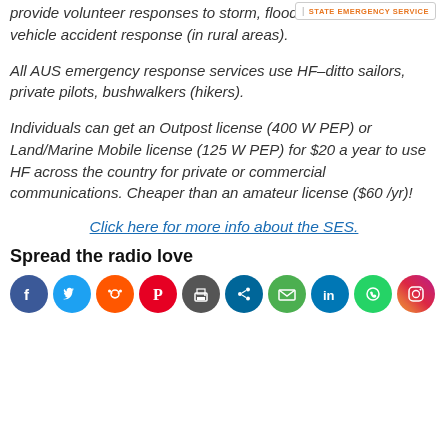STATE EMERGENCY SERVICE
provide volunteer responses to storm, flood, land search, vehicle accident response (in rural areas).
All AUS emergency response services use HF–ditto sailors, private pilots, bushwalkers (hikers).
Individuals can get an Outpost license (400 W PEP) or Land/Marine Mobile license (125 W PEP) for $20 a year to use HF across the country for private or commercial communications. Cheaper than an amateur license ($60 /yr)!
Click here for more info about the SES.
Spread the radio love
[Figure (other): Row of social media sharing icons: Facebook, Twitter, Reddit, Pinterest, Print, ShareThis, Email, LinkedIn, WhatsApp, Instagram]